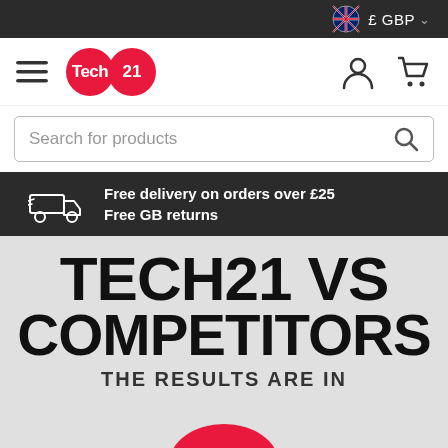£ GBP
[Figure (logo): Tech21 brand logo with hamburger menu icon on left and user/cart icons on right]
[Figure (screenshot): Search bar with placeholder text 'Search for products' and magnifying glass icon]
Free delivery on orders over £25
Free GB returns
TECH21 VS COMPETITORS
THE RESULTS ARE IN